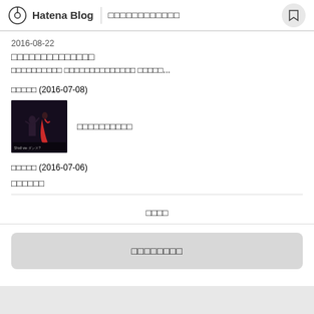Hatena Blog | □□□□□□□□□□□□
2016-08-22
□□□□□□□□□□□□□□
□□□□□□□□□□ □□□□□□□□□□□□□□ □□□□□...
□□□□□ (2016-07-08)
[Figure (photo): Shall We Dance movie cover thumbnail]
□□□□□□□□□□
□□□□□ (2016-07-06)
□□□□□□
□□□□
□□□□□□□□